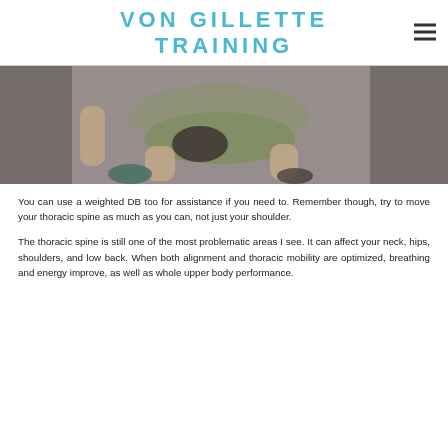VON GILLETTE TRAINING
[Figure (photo): Overhead view of a person lying on a carpeted floor performing a thoracic spine mobility exercise with a foam roller or similar prop.]
You can use a weighted DB too for assistance if you need to. Remember though, try to move your thoracic spine as much as you can, not just your shoulder.
The thoracic spine is still one of the most problematic areas I see. It can affect your neck, hips, shoulders, and low back. When both alignment and thoracic mobility are optimized, breathing and energy improve, as well as whole upper body performance.